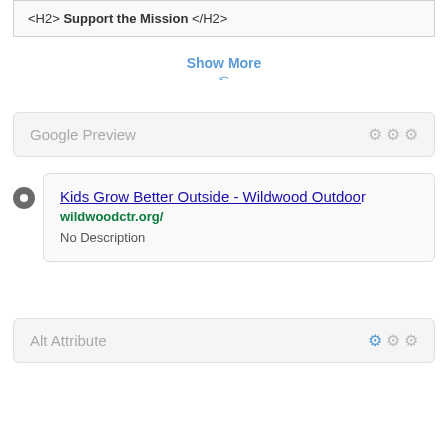<H2> Support the Mission </H2>
Show More
Google Preview
Kids Grow Better Outside - Wildwood Outdoor
wildwoodctr.org/
No Description
Alt Attribute